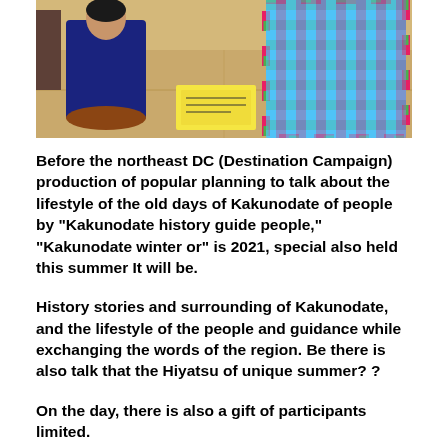[Figure (photo): Two people seated on tatami floor in a traditional Japanese room. One person in dark clothing on the left, another in colorful plaid/checkered clothing on the right, with papers/documents visible between them.]
Before the northeast DC (Destination Campaign) production of popular planning to talk about the lifestyle of the old days of Kakunodate of people by "Kakunodate history guide people," "Kakunodate winter or" is 2021, special also held this summer It will be.
History stories and surrounding of Kakunodate, and the lifestyle of the people and guidance while exchanging the words of the region. Be there is also talk that the Hiyatsu of unique summer? ?
On the day, there is also a gift of participants limited.
After that was over, please enjoy also come Kakunodate of night bra.